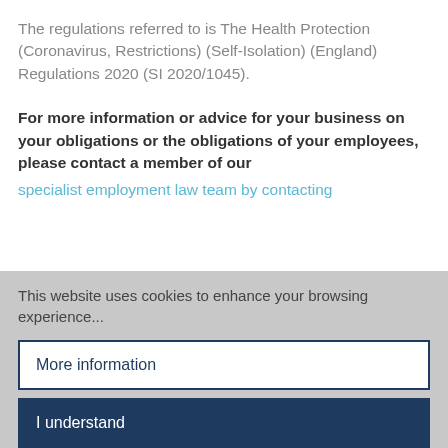The regulations referred to is The Health Protection (Coronavirus, Restrictions) (Self-Isolation) (England) Regulations 2020 (SI 2020/1045).
For more information or advice for your business on your obligations or the obligations of your employees, please contact a member of our specialist employment law team by contacting
This website uses cookies to enhance your browsing experience...
More information
I understand